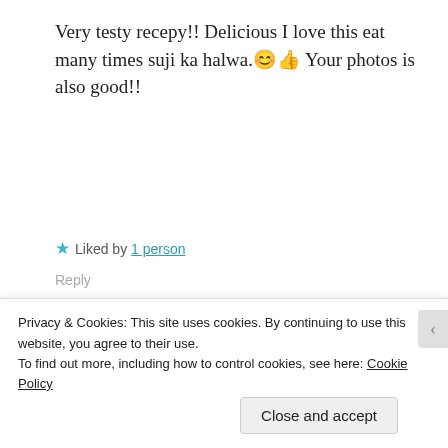Very testy recepy!! Delicious I love this eat many times suji ka halwa.😊👍 Your photos is also good!!
★ Liked by 1 person
Reply
[Figure (photo): User avatar/profile photo of Aaliyazoya]
Aaliyazoya · July 22, 2020
Thanks😊
Privacy & Cookies: This site uses cookies. By continuing to use this website, you agree to their use. To find out more, including how to control cookies, see here: Cookie Policy
Close and accept